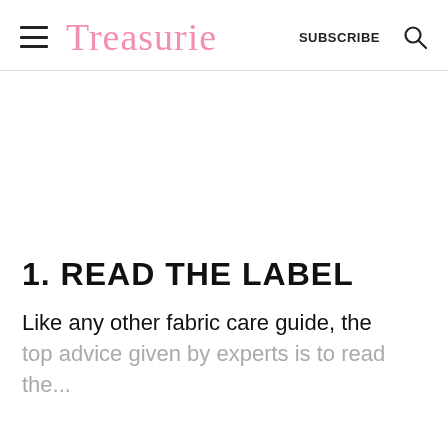Treasurie  SUBSCRIBE
1. READ THE LABEL
Like any other fabric care guide, the top advice given by experts is to read the...